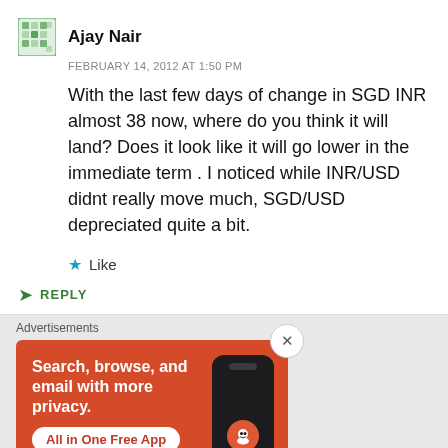Ajay Nair
FEBRUARY 14, 2012 AT 1:50 PM
With the last few days of change in SGD INR almost 38 now, where do you think it will land? Does it look like it will go lower in the immediate term . I noticed while INR/USD didnt really move much, SGD/USD depreciated quite a bit.
Like
REPLY
[Figure (infographic): DuckDuckGo advertisement banner on orange background: 'Search, browse, and email with more privacy. All in One Free App' with a phone mockup showing the DuckDuckGo logo]
Advertisements